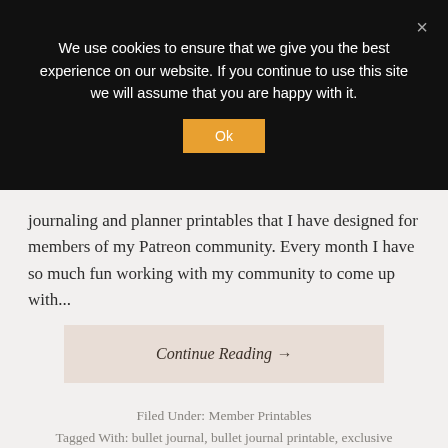We use cookies to ensure that we give you the best experience on our website. If you continue to use this site we will assume that you are happy with it.
journaling and planner printables that I have designed for members of my Patreon community. Every month I have so much fun working with my community to come up with...
Continue Reading →
Filed Under: Member Printables
Tagged With: bullet journal, bullet journal printable, exclusive printables, patreon, planning